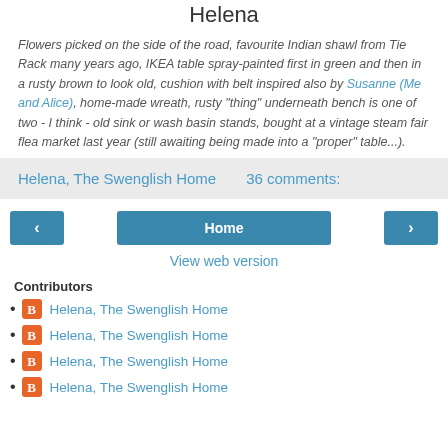Helena
Flowers picked on the side of the road, favourite Indian shawl from Tie Rack many years ago, IKEA table spray-painted first in green and then in a rusty brown to look old, cushion with belt inspired also by Susanne (Me and Alice), home-made wreath, rusty "thing" underneath bench is one of two - I think - old sink or wash basin stands, bought at a vintage steam fair flea market last year (still awaiting being made into a "proper" table...).
Helena, The Swenglish Home    36 comments:
Home
View web version
Contributors
Helena, The Swenglish Home
Helena, The Swenglish Home
Helena, The Swenglish Home
Helena, The Swenglish Home